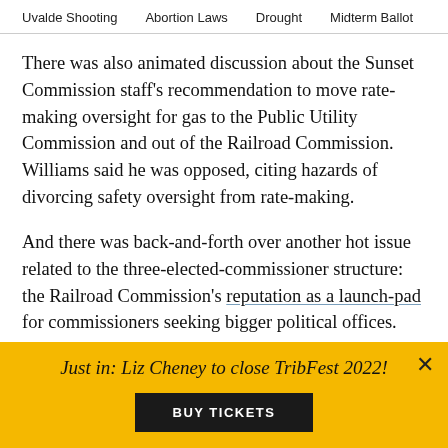Uvalde Shooting   Abortion Laws   Drought   Midterm Ballot
There was also animated discussion about the Sunset Commission staff's recommendation to move rate-making oversight for gas to the Public Utility Commission and out of the Railroad Commission. Williams said he was opposed, citing hazards of divorcing safety oversight from rate-making.
And there was back-and-forth over another hot issue related to the three-elected-commissioner structure: the Railroad Commission's reputation as a launch-pad for commissioners seeking bigger political offices. Both Ames Jones and Williams were poised to seek the Republican nomination for U.S. Senate if Sen. Kay
Just in: Liz Cheney to close TribFest 2022!
BUY TICKETS